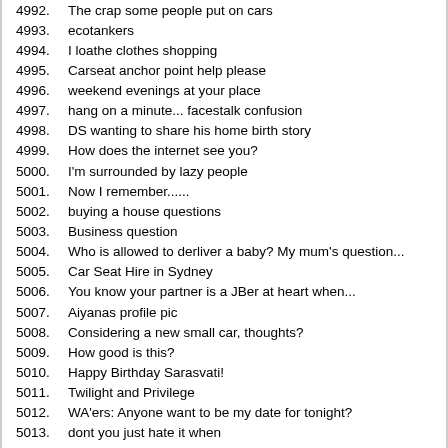4992. The crap some people put on cars
4993. ecotankers
4994. I loathe clothes shopping
4995. Carseat anchor point help please
4996. weekend evenings at your place
4997. hang on a minute... facestalk confusion
4998. DS wanting to share his home birth story
4999. How does the internet see you?
5000. I'm surrounded by lazy people
5001. Now I remember......
5002. buying a house questions
5003. Business question
5004. Who is allowed to derliver a baby? My mum's question...
5005. Car Seat Hire in Sydney
5006. You know your partner is a JBer at heart when...
5007. Aiyanas profile pic
5008. Considering a new small car, thoughts?
5009. How good is this?
5010. Happy Birthday Sarasvati!
5011. Twilight and Privilege
5012. WA'ers: Anyone want to be my date for tonight?
5013. dont you just hate it when
5014. So what exactly defines as a 'natural birth'?
5015. OMG what a song
5016. Alternative clothing - Breastfeeding/homebirthing/MCN slogans
5017. How did you tell your partner you were pregnant?
5018. When is it no longer ok for kids to share baths/be naked together